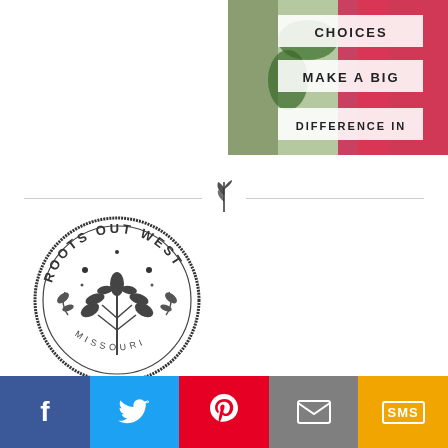[Figure (photo): Top-right decorative photo with flowers and ribbon, overlaid with white banner text: CHOICES / MAKE A BIG / DIFFERENCE IN]
[Figure (illustration): Horizontal divider with a small hand-drawn leaf/sprout icon in the center]
[Figure (logo): Circular stamp logo reading ROOTS OUT WEST with botanical illustration in center and MISSOURI text at bottom]
[Figure (infographic): Social sharing bar with five buttons: Facebook (blue), Twitter (light blue), Pinterest (red), Email (gray), SMS (yellow/gold)]